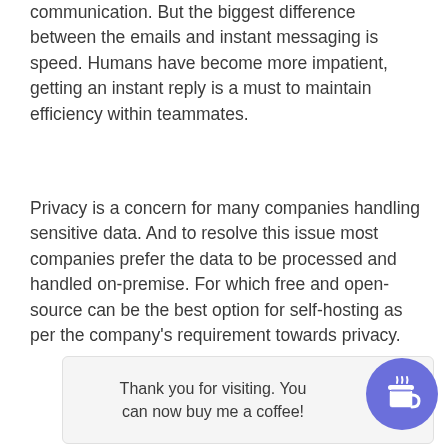communication. But the biggest difference between the emails and instant messaging is speed. Humans have become more impatient, getting an instant reply is a must to maintain efficiency within teammates.
Privacy is a concern for many companies handling sensitive data. And to resolve this issue most companies prefer the data to be processed and handled on-premise. For which free and open-source can be the best option for self-hosting as per the company's requirement towards privacy.
Thank you for visiting. You can now buy me a coffee!